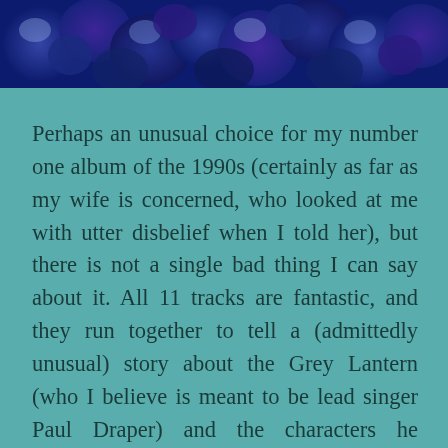[Figure (photo): A close-up banner photo of dark blue roses with deep purple and navy hues, filling the top of the page.]
Perhaps an unusual choice for my number one album of the 1990s (certainly as far as my wife is concerned, who looked at me with utter disbelief when I told her), but there is not a single bad thing I can say about it. All 11 tracks are fantastic, and they run together to tell a (admittedly unusual) story about the Grey Lantern (who I believe is meant to be lead singer Paul Draper) and the characters he encounters – including Mavis and a stripping vicar. It's like a musical version of The League Of